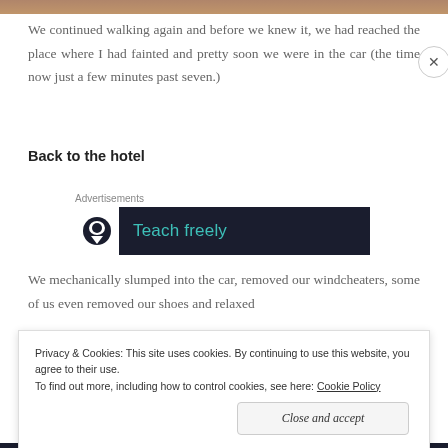[Figure (photo): Partial photograph visible as a thin strip at the top of the page]
We continued walking again and before we knew it, we had reached the place where I had fainted and pretty soon we were in the car (the time now just a few minutes past seven.)
Back to the hotel
Advertisements
[Figure (other): Advertisement banner with dark background showing a logo icon and 'Teach freely' text in teal]
We mechanically slumped into the car, removed our windcheaters, some of us even removed our shoes and relaxed
Privacy & Cookies: This site uses cookies. By continuing to use this website, you agree to their use.
To find out more, including how to control cookies, see here: Cookie Policy
Close and accept